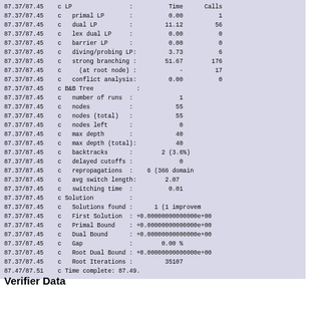Code block showing SCIP solver output including LP statistics, B&B Tree statistics, and Solution information
Verifier Data